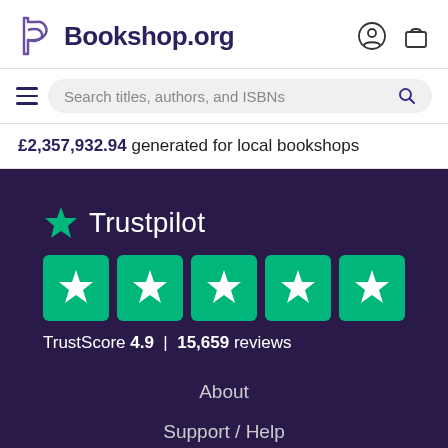Bookshop.org
Search titles, authors, and ISBNs
£2,357,932.94 generated for local bookshops
[Figure (logo): Trustpilot logo with green star and text 'Trustpilot', followed by five green star rating boxes and TrustScore 4.9 | 15,659 reviews]
About
Support / Help